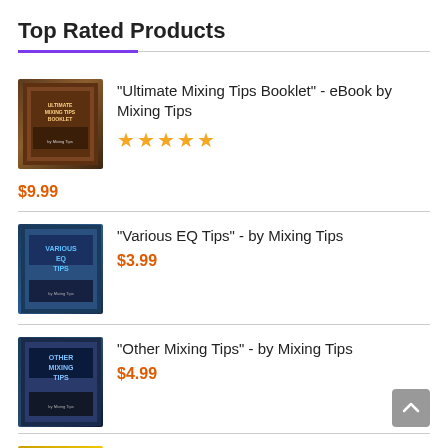Top Rated Products
"Ultimate Mixing Tips Booklet" - eBook by Mixing Tips · ★★★★★ · $9.99
"Various EQ Tips" - by Mixing Tips · $3.99
"Other Mixing Tips" - by Mixing Tips · $4.99
"Ultimate Bundle" - by Mixing Tips